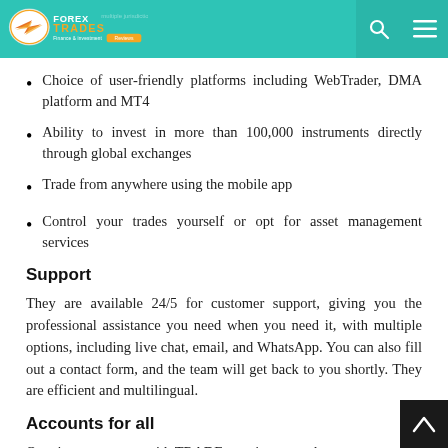Forex Trades Finance & Investment
Choice of user-friendly platforms including WebTrader, DMA platform and MT4
Ability to invest in more than 100,000 instruments directly through global exchanges
Trade from anywhere using the mobile app
Control your trades yourself or opt for asset management services
Support
They are available 24/5 for customer support, giving you the professional assistance you need when you need it, with multiple options, including live chat, email, and WhatsApp. You can also fill out a contact form, and the team will get back to you shortly. They are efficient and multilingual.
Accounts for all
Opening an account with TRADE.com is a smooth process.